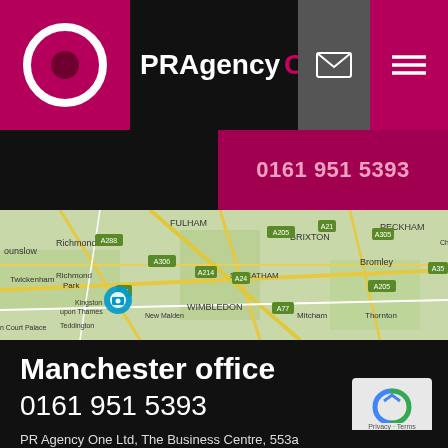[Figure (logo): PR Agency One logo - pink square with white circle/ring and dark inner circle, followed by brand name PR Agency One in white and pink text]
0161 951 5393
[Figure (map): Google Maps showing South London area including Twickenham, Richmond, Wimbledon, Brixton, Streatham, Peckham, Lewisham, Bromley, Mitcham, New Malden areas]
Manchester office
0161 951 5393
PR Agency One Ltd, The Business Centre, 553a